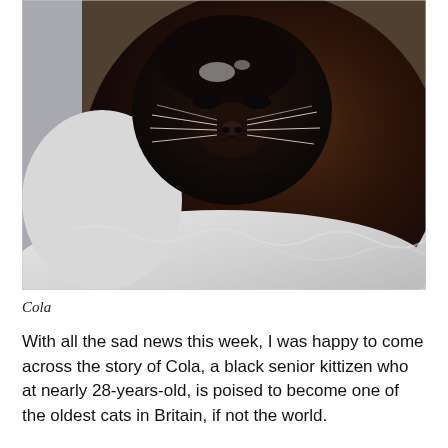[Figure (photo): Close-up photograph of Cola, an elderly black cat with dark brown fur, sitting on a white fluffy blanket or surface. The cat's face is visible with white whiskers and a dark nose.]
Cola
With all the sad news this week, I was happy to come across the story of Cola, a black senior kittizen who at nearly 28-years-old, is poised to become one of the oldest cats in Britain, if not the world.